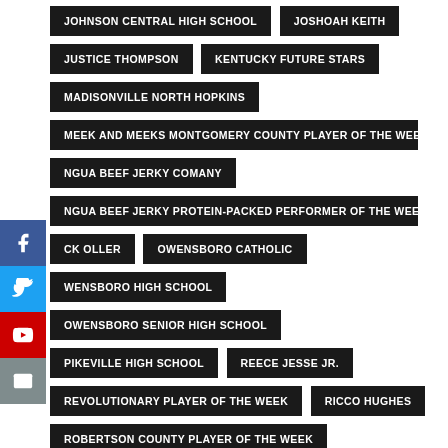JOHNSON CENTRAL HIGH SCHOOL
JOSHOAH KEITH
JUSTICE THOMPSON
KENTUCKY FUTURE STARS
MADISONVILLE NORTH HOPKINS
MEEK AND MEEKS MONTGOMERY COUNTY PLAYER OF THE WEEK
MINGUA BEEF JERKY COMANY
MINGUA BEEF JERKY PROTEIN-PACKED PERFORMER OF THE WEEK
RICK OLLER
OWENSBORO CATHOLIC
OWENSBORO HIGH SCHOOL
OWENSBORO SENIOR HIGH SCHOOL
PIKEVILLE HIGH SCHOOL
REECE JESSE JR.
REVOLUTIONARY PLAYER OF THE WEEK
RICCO HUGHES
ROBERTSON COUNTY PLAYER OF THE WEEK
RONNIE MINGUA